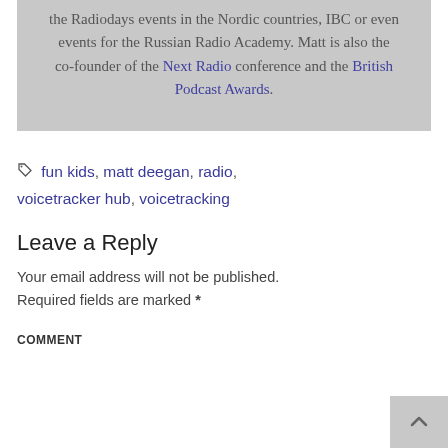the Radiodays events in the Nordic countries, IBC or even events for the Russian Radio Academy. Matt is also the co-founder of the Next Radio conference and the British Podcast Awards.
fun kids, matt deegan, radio, voicetracker hub, voicetracking
Leave a Reply
Your email address will not be published. Required fields are marked *
COMMENT